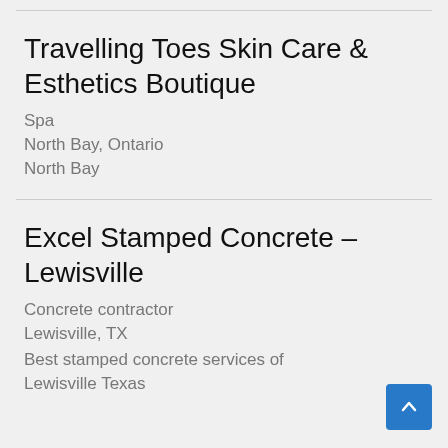Travelling Toes Skin Care & Esthetics Boutique
Spa
North Bay, Ontario
North Bay
Excel Stamped Concrete – Lewisville
Concrete contractor
Lewisville, TX
Best stamped concrete services of Lewisville Texas